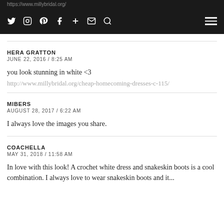https://www.millybridal.org/
Navigation icons: Twitter, Instagram, Pinterest, Facebook, Plus, Mail, Search, Hamburger menu
HERA GRATTON
JUNE 22, 2016 / 8:25 AM

you look stunning in white <3
http://www.millybridal.org/cheap-homecoming-dresses-c-115/
MIBERS
AUGUST 28, 2017 / 6:22 AM

I always love the images you share.
COACHELLA
MAY 31, 2018 / 11:58 AM

In love with this look! A crochet white dress and snakeskin boots is a cool combination. I always love to wear snakeskin boots and white...